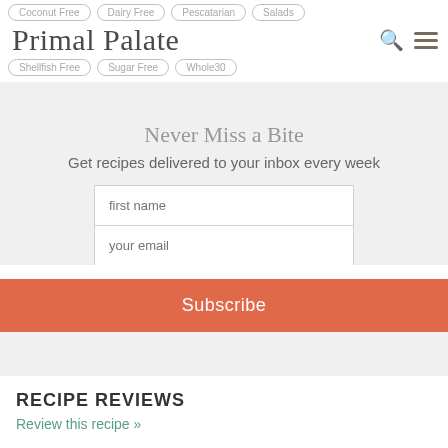Coconut Free  Dairy Free  Pescatarian  Salads  Shellfish Free  Sugar Free  Whole30
Primal Palate
Never Miss a Bite
Get recipes delivered to your inbox every week
first name
your email
Subscribe
RECIPE REVIEWS
Review this recipe »